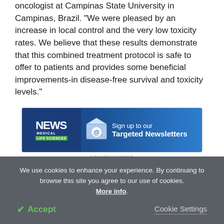oncologist at Campinas State University in Campinas, Brazil. "We were pleased by an increase in local control and the very low toxicity rates. We believe that these results demonstrate that this combined treatment protocol is safe to offer to patients and provides some beneficial improvements-in disease-free survival and toxicity levels."
[Figure (other): News Medical Life Sciences advertisement banner — Sign up to our Targeted Newsletters]
ADVERTISEMENT
We use cookies to enhance your experience. By continuing to browse this site you agree to our use of cookies. More info.
✔ Accept   Cookie Settings